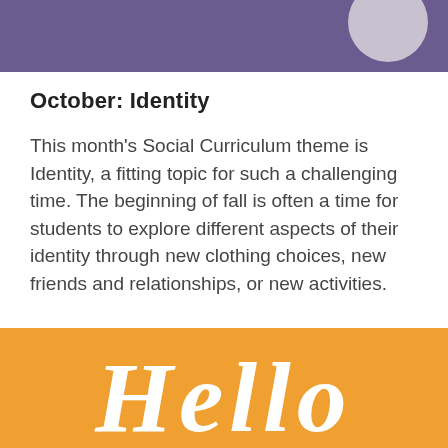[Figure (illustration): Purple banner at top of page with a light gray circle decoration partially visible at the top right]
October: Identity
This month’s Social Curriculum theme is Identity, a fitting topic for such a challenging time. The beginning of fall is often a time for students to explore different aspects of their identity through new clothing choices, new friends and relationships, or new activities.
[Figure (illustration): Orange banner at bottom of page with white script text reading 'Hello' in a cursive style, partially cropped]